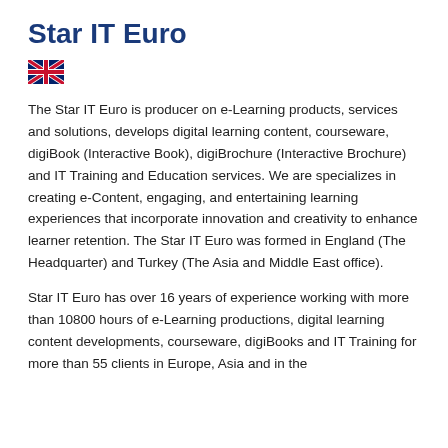Star IT Euro
[Figure (illustration): UK flag (Union Jack) icon]
The Star IT Euro is producer on e-Learning products, services and solutions, develops digital learning content, courseware, digiBook (Interactive Book), digiBrochure (Interactive Brochure) and IT Training and Education services. We are specializes in creating e-Content, engaging, and entertaining learning experiences that incorporate innovation and creativity to enhance learner retention. The Star IT Euro was formed in England (The Headquarter) and Turkey (The Asia and Middle East office).
Star IT Euro has over 16 years of experience working with more than 10800 hours of e-Learning productions, digital learning content developments, courseware, digiBooks and IT Training for more than 55 clients in Europe, Asia and in the